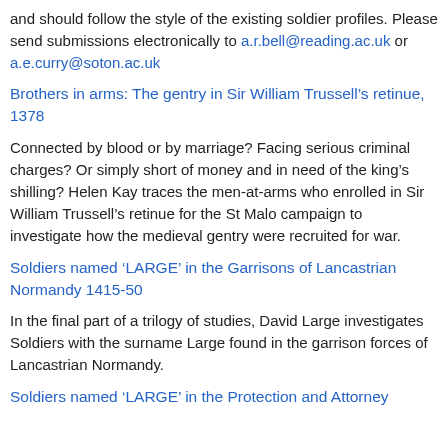and should follow the style of the existing soldier profiles. Please send submissions electronically to a.r.bell@reading.ac.uk or a.e.curry@soton.ac.uk
Brothers in arms: The gentry in Sir William Trussell’s retinue, 1378
Connected by blood or by marriage? Facing serious criminal charges? Or simply short of money and in need of the king’s shilling? Helen Kay traces the men-at-arms who enrolled in Sir William Trussell’s retinue for the St Malo campaign to investigate how the medieval gentry were recruited for war.
Soldiers named ‘LARGE’ in the Garrisons of Lancastrian Normandy 1415-50
In the final part of a trilogy of studies, David Large investigates Soldiers with the surname Large found in the garrison forces of Lancastrian Normandy.
Soldiers named ‘LARGE’ in the Protection and Attorney